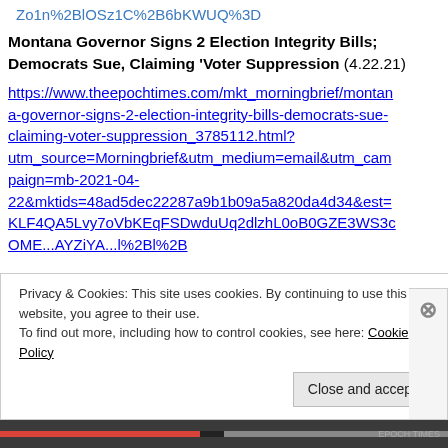Zo1n%2BlOSz1C%2B6bKWUQ%3D
Montana Governor Signs 2 Election Integrity Bills; Democrats Sue, Claiming ‘Voter Suppression (4.22.21)
https://www.theepochtimes.com/mkt_morningbrief/montana-governor-signs-2-election-integrity-bills-democrats-sue-claiming-voter-suppression_3785112.html?utm_source=Morningbrief&utm_medium=email&utm_campaign=mb-2021-04-22&mktids=48ad5dec22287a9b1b09a5a820da4d34&est=KLF4QA5Lvy7oVbKEqFSDwduUq2dlzhL0oB0GZE3WS3cOME...AYZiYA...l%2Bl%2B
Privacy & Cookies: This site uses cookies. By continuing to use this website, you agree to their use. To find out more, including how to control cookies, see here: Cookie Policy